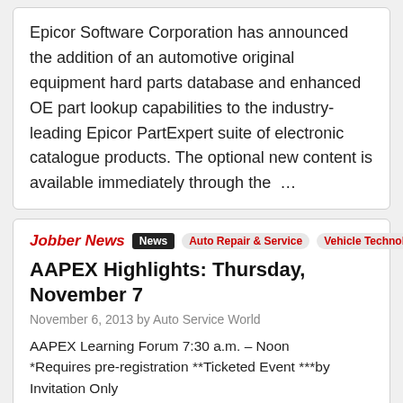Epicor Software Corporation has announced the addition of an automotive original equipment hard parts database and enhanced OE part lookup capabilities to the industry-leading Epicor PartExpert suite of electronic catalogue products. The optional new content is available immediately through the …
Jobber News | News | Auto Repair & Service | Vehicle Technology
AAPEX Highlights: Thursday, November 7
November 6, 2013 by Auto Service World
AAPEX Learning Forum 7:30 a.m. – Noon *Requires pre-registration **Ticketed Event ***by Invitation Only